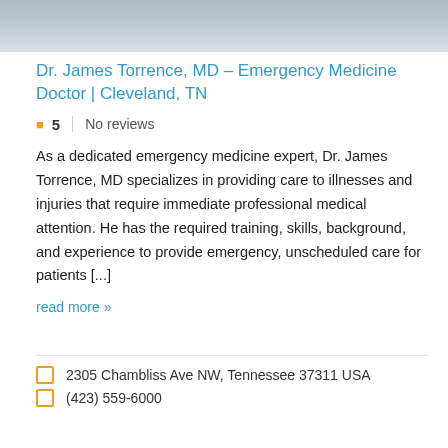[Figure (photo): Partial view of a doctor or medical professional photo, gray/silver toned, cropped at top]
Dr. James Torrence, MD – Emergency Medicine Doctor | Cleveland, TN
5  No reviews
As a dedicated emergency medicine expert, Dr. James Torrence, MD specializes in providing care to illnesses and injuries that require immediate professional medical attention. He has the required training, skills, background, and experience to provide emergency, unscheduled care for patients [...]
read more »
2305 Chambliss Ave NW, Tennessee 37311 USA
(423) 559-6000